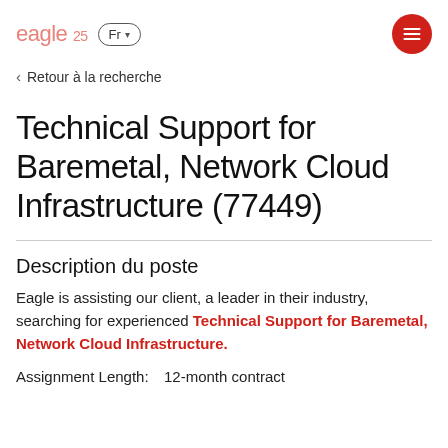eagle 25  Fr  [menu]
< Retour à la recherche
Technical Support for Baremetal, Network Cloud Infrastructure (77449)
Description du poste
Eagle is assisting our client, a leader in their industry, searching for experienced Technical Support for Baremetal, Network Cloud Infrastructure.
Assignment Length:  12-month contract